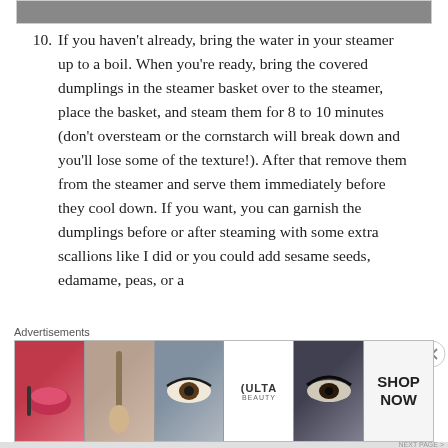[Figure (photo): Partial image of food or dumplings at the top of the page]
10. If you haven't already, bring the water in your steamer up to a boil. When you're ready, bring the covered dumplings in the steamer basket over to the steamer, place the basket, and steam them for 8 to 10 minutes (don't oversteam or the cornstarch will break down and you'll lose some of the texture!). After that remove them from the steamer and serve them immediately before they cool down. If you want, you can garnish the dumplings before or after steaming with some extra scallions like I did or you could add sesame seeds, edamame, peas, or a
Advertisements
[Figure (photo): ULTA beauty advertisement banner showing makeup imagery with lips, brush, eyes, ULTA logo, and SHOP NOW call-to-action]